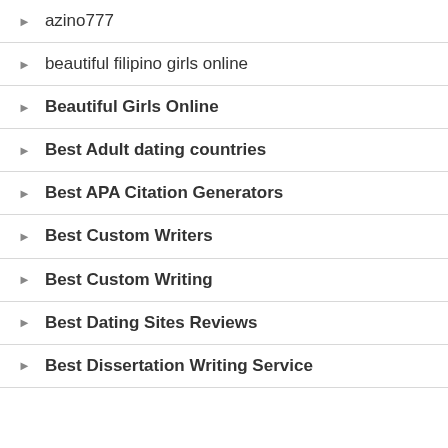azino777
beautiful filipino girls online
Beautiful Girls Online
Best Adult dating countries
Best APA Citation Generators
Best Custom Writers
Best Custom Writing
Best Dating Sites Reviews
Best Dissertation Writing Service